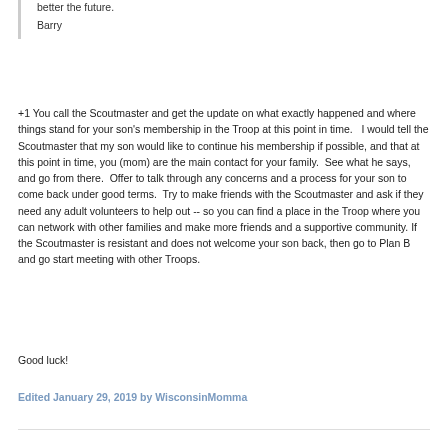better the future.

Barry
+1 You call the Scoutmaster and get the update on what exactly happened and where things stand for your son's membership in the Troop at this point in time.   I would tell the Scoutmaster that my son would like to continue his membership if possible, and that at this point in time, you (mom) are the main contact for your family.  See what he says, and go from there.  Offer to talk through any concerns and a process for your son to come back under good terms.  Try to make friends with the Scoutmaster and ask if they need any adult volunteers to help out -- so you can find a place in the Troop where you can network with other families and make more friends and a supportive community. If the Scoutmaster is resistant and does not welcome your son back, then go to Plan B and go start meeting with other Troops.
Good luck!
Edited January 29, 2019 by WisconsinMomma